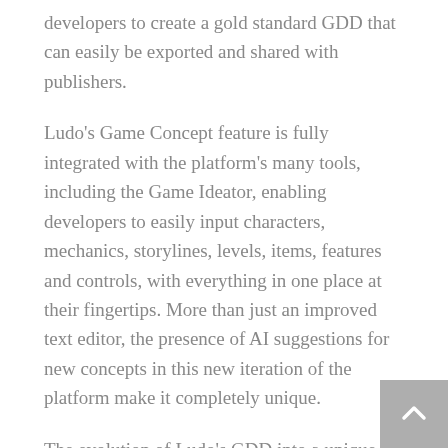developers to create a gold standard GDD that can easily be exported and shared with publishers.
Ludo's Game Concept feature is fully integrated with the platform's many tools, including the Game Ideator, enabling developers to easily input characters, mechanics, storylines, levels, items, features and controls, with everything in one place at their fingertips. More than just an improved text editor, the presence of AI suggestions for new concepts in this new iteration of the platform make it completely unique.
The evolution of Ludo's GDD into a unique Game Concept creator marks a move to a more rapid-flow, collaborative, ideas based workspace which can be